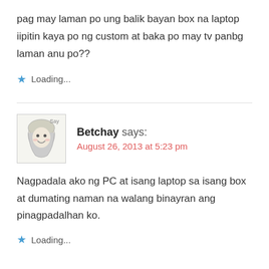pag may laman po ung balik bayan box na laptop iipitin kaya po ng custom at baka po may tv panbg laman anu po??
Loading...
Betchay says:
August 26, 2013 at 5:23 pm
Nagpadala ako ng PC at isang laptop sa isang box at dumating naman na walang binayran ang pinagpadalhan ko.
Loading...